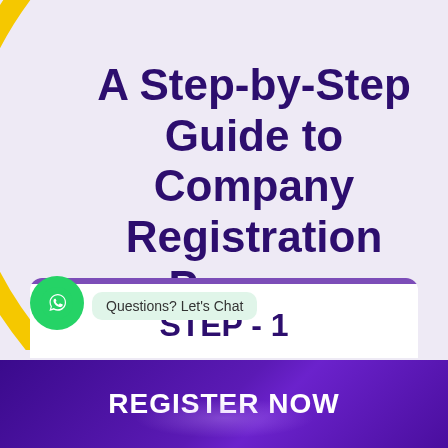A Step-by-Step Guide to Company Registration Process
Questions? Let's Chat
STEP - 1
REGISTER NOW